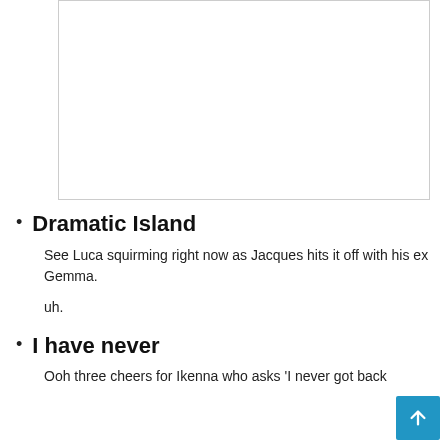[Figure (photo): White/blank image placeholder with border]
Dramatic Island
See Luca squirming right now as Jacques hits it off with his ex Gemma.
uh.
I have never
Ooh three cheers for Ikenna who asks 'I never got back